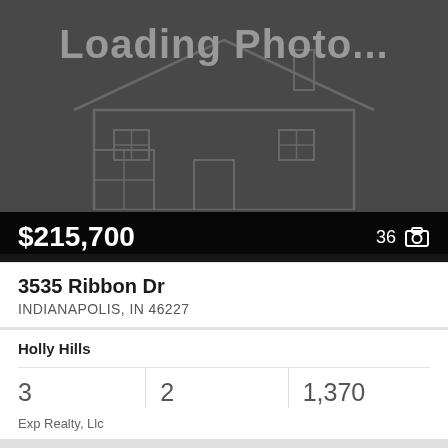[Figure (screenshot): Loading photo placeholder for real estate listing showing a house outline on dark background with 'Loading Photo...' text]
$215,700
36
3535 Ribbon Dr
INDIANAPOLIS, IN 46227
Holly Hills
3
Beds
2
Baths
1,370
Sq.Ft.
Exp Realty, Llc
[Figure (screenshot): Second real estate listing card showing a dark gray photo placeholder with a house roof outline and a heart/favorite icon in the top right corner]